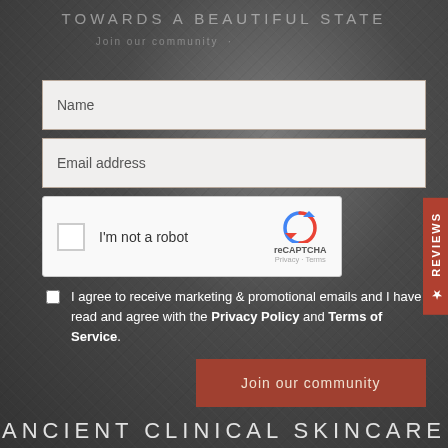TOWARDS A BEAUTIFUL STATE
Join our community
Name
Email address
[Figure (screenshot): reCAPTCHA widget with checkbox labeled 'I'm not a robot', reCAPTCHA logo with arrows, Privacy and Terms links]
I agree to receive marketing & promotional emails and I have read and agree with the Privacy Policy and Terms of Service.
Join our community
★ REVIEWS
ANCIENT CLINICAL SKINCARE